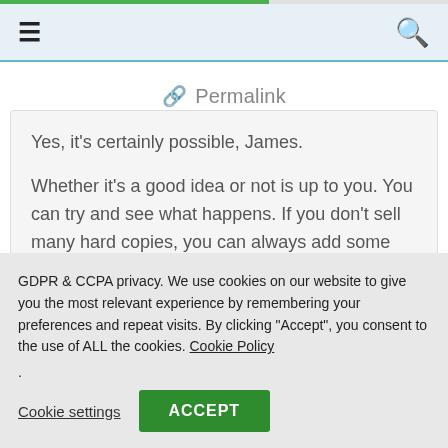≡   🔍
🔗 Permalink
Yes, it's certainly possible, James.

Whether it's a good idea or not is up to you. You can try and see what happens. If you don't sell many hard copies, you can always add some photos to your ebook and
GDPR & CCPA privacy. We use cookies on our website to give you the most relevant experience by remembering your preferences and repeat visits. By clicking "Accept", you consent to the use of ALL the cookies. Cookie Policy
.
Cookie settings   ACCEPT